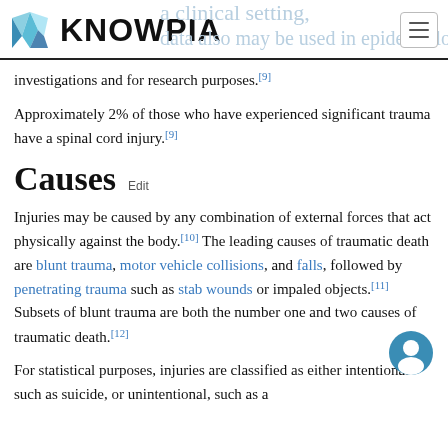KNOWPIA
investigations and for research purposes.[9]
Approximately 2% of those who have experienced significant trauma have a spinal cord injury.[9]
Causes Edit
Injuries may be caused by any combination of external forces that act physically against the body.[10] The leading causes of traumatic death are blunt trauma, motor vehicle collisions, and falls, followed by penetrating trauma such as stab wounds or impaled objects.[11] Subsets of blunt trauma are both the number one and two causes of traumatic death.[12]
For statistical purposes, injuries are classified as either intentional such as suicide, or unintentional, such as a